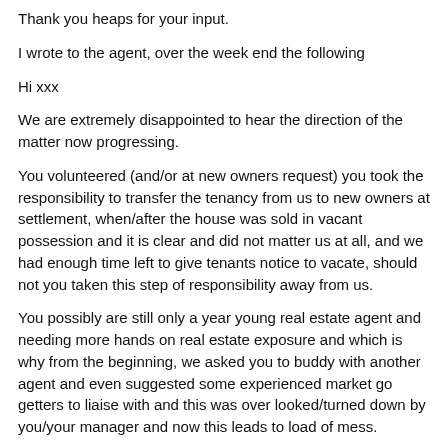Thank you heaps for your input.
I wrote to the agent, over the week end the following
Hi xxx
We are extremely disappointed to hear the direction of the matter now progressing.
You volunteered (and/or at new owners request) you took the responsibility to transfer the tenancy from us to new owners at settlement, when/after the house was sold in vacant possession and it is clear and did not matter us at all, and we had enough time left to give tenants notice to vacate, should not you taken this step of responsibility away from us.
You possibly are still only a year young real estate agent and needing more hands on real estate exposure and which is why from the beginning, we asked you to buddy with another agent and even suggested some experienced market go getters to liaise with and this was over looked/turned down by you/your manager and now this leads to load of mess.
You still do not have yet ONE SINGLE ANSWER ,clarified, since xx/9 for over one and half months, simply if the new owner wants